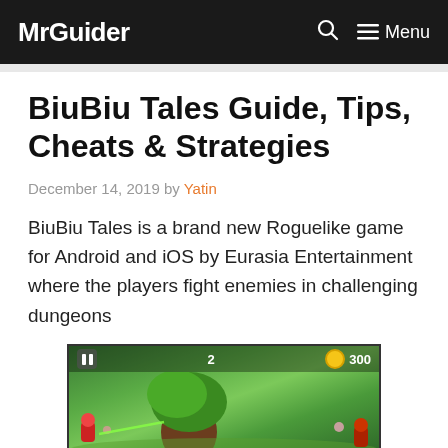MrGuider | Menu
BiuBiu Tales Guide, Tips, Cheats & Strategies
December 14, 2019 by Yatin
BiuBiu Tales is a brand new Roguelike game for Android and iOS by Eurasia Entertainment where the players fight enemies in challenging dungeons
[Figure (screenshot): Screenshot of BiuBiu Tales game showing a dungeon scene with green forest background, a pause button, level indicator showing 2, and coin count of 300]